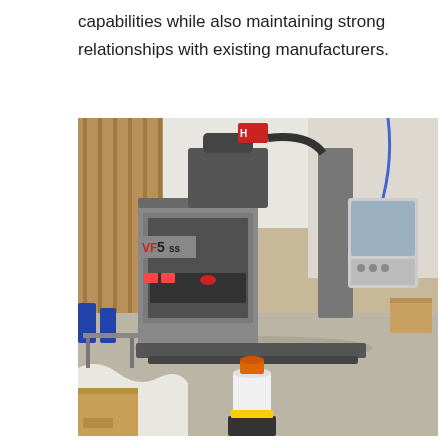capabilities while also maintaining strong relationships with existing manufacturers.
[Figure (photo): Photo of a Haas VF-5SS CNC vertical machining center on a concrete floor inside a warehouse/manufacturing facility. The machine is gray and black with a red Haas logo on top. The control panel is mounted on the right side. Labels on the machine read 'VF5ss'. Various items including a white bucket with an orange lid and boxes are visible in the foreground.]